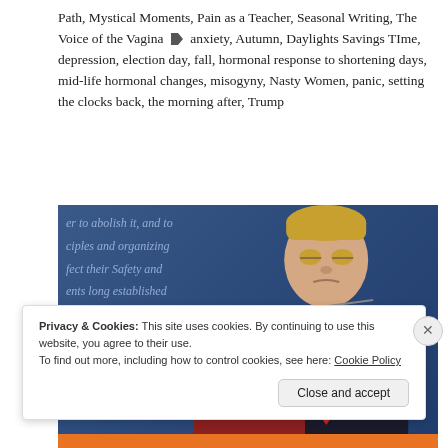Path, Mystical Moments, Pain as a Teacher, Seasonal Writing, The Voice of the Vagina [tag icon] anxiety, Autumn, Daylights Savings TIme, depression, election day, fall, hormonal response to shortening days, mid-life hormonal changes, misogyny, Nasty Women, panic, setting the clocks back, the morning after, Trump
[Figure (photo): Photo of Donald Trump standing behind Hillary Clinton at a presidential debate, with a blue background showing partially visible cursive text from the Declaration of Independence.]
Privacy & Cookies: This site uses cookies. By continuing to use this website, you agree to their use.
To find out more, including how to control cookies, see here: Cookie Policy
Close and accept